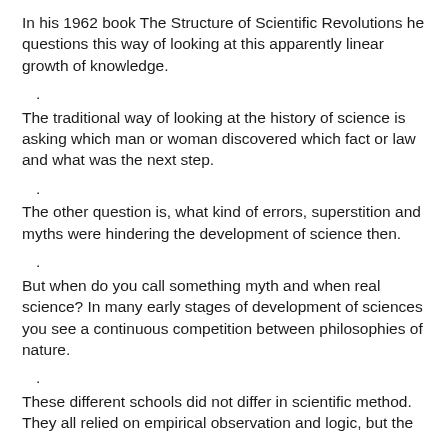In his 1962 book The Structure of Scientific Revolutions he questions this way of looking at this apparently linear growth of knowledge.
. The traditional way of looking at the history of science is asking which man or woman discovered which fact or law and what was the next step.
. The other question is, what kind of errors, superstition and myths were hindering the development of science then.
. But when do you call something myth and when real science? In many early stages of development of sciences you see a continuous competition between philosophies of nature.
. These different schools did not differ in scientific method. They all relied on empirical observation and logic, but the